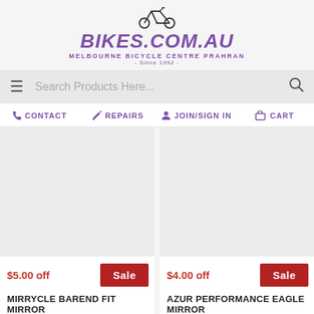[Figure (logo): Bikes.com.au logo with bicycle icon, text BIKES.COM.AU, MELBOURNE BICYCLE CENTRE PRAHRAN, Since 1992]
Search Products Here...
CONTACT  REPAIRS  JOIN/SIGN IN  CART
[Figure (photo): Product image placeholder for Mirrycle Barend Fit Mirror]
[Figure (photo): Product image placeholder for Azur Performance Eagle Mirror]
$5.00 off
Sale
$4.00 off
Sale
MIRRYCLE BAREND FIT MIRROR
AZUR PERFORMANCE EAGLE MIRROR